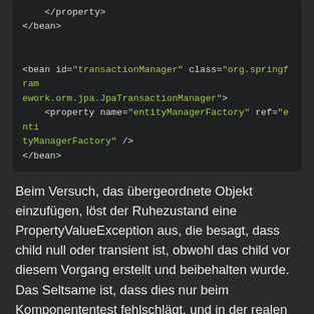[Figure (screenshot): Code block showing XML Spring bean configuration for transactionManager with JpaTransactionManager and entityManagerFactory property]
Beim Versuch, das übergeordnete Objekt einzufügen, löst der Ruhezustand eine PropertyValueException aus, die besagt, dass child null oder transient ist, obwohl das child vor diesem Vorgang erstellt und beibehalten wurde. Das Seltsame ist, dass dies nur beim Komponententest fehlschlägt, und in der realen Anwendung mit einem bereits eingefügten Kind funktioniert dies genauso wie erwartet.
PS: Ich bin mir ziemlich bewusst, dass ich ein Kind mit einer Kaskadenpersistenz aufzeichnen könnte, aber das ist hier nicht die Idee. Ich möchte nur prüfen, ob diese